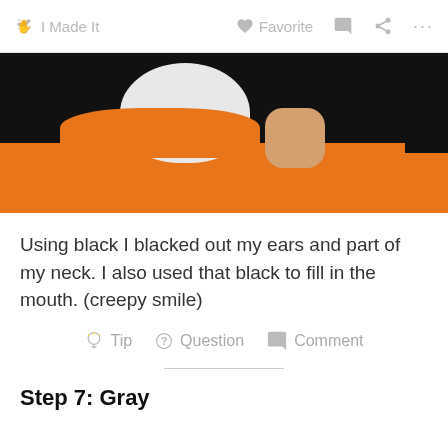I Made It   Favorite   Comment   Share   ...
[Figure (photo): Person in orange shirt with white face paint applying makeup, two photos side by side]
Using black I blacked out my ears and part of my neck. I also used that black to fill in the mouth. (creepy smile)
Tip   Question   Comment
Step 7: Gray